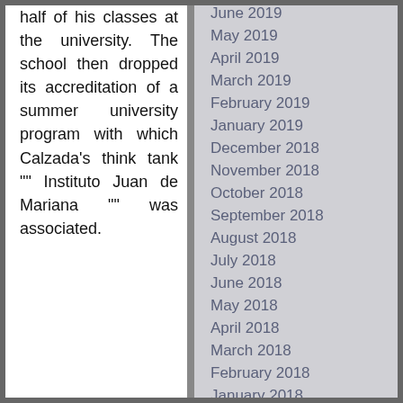half of his classes at the university. The school then dropped its accreditation of a summer university program with which Calzada's think tank "" Instituto Juan de Mariana "" was associated.
June 2019
May 2019
April 2019
March 2019
February 2019
January 2019
December 2018
November 2018
October 2018
September 2018
August 2018
July 2018
June 2018
May 2018
April 2018
March 2018
February 2018
January 2018
December 2017
November 2017
October 2017